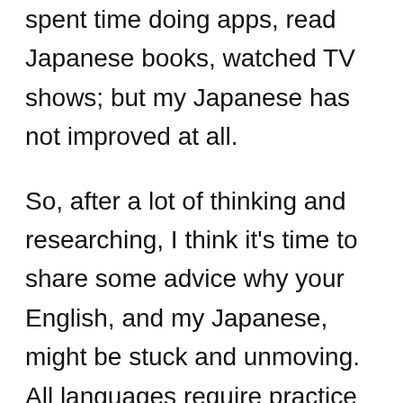spent time doing apps, read Japanese books, watched TV shows; but my Japanese has not improved at all.
So, after a lot of thinking and researching, I think it’s time to share some advice why your English, and my Japanese, might be stuck and unmoving. All languages require practice and patience. Learning a language is not easy, and you shouldn’t expect it to be a simple process. And there are so many resources available in the world right now that there should be no problem in improving! Now, let’s talk about some of the